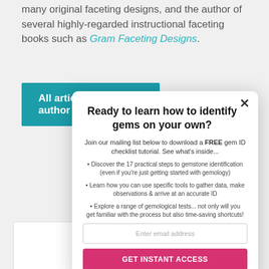many original faceting designs, and the author of several highly-regarded instructional faceting books such as Gram Faceting Designs.
All articles by this author
Ready to learn how to identify gems on your own?
Join our mailing list below to download a FREE gem ID checklist tutorial. See what's inside...
Discover the 17 practical steps to gemstone identification (even if you're just getting started with gemology)
Learn how you can use specific tools to gather data, make observations & arrive at an accurate ID
Explore a range of gemological tests... not only will you get familiar with the process but also time-saving shortcuts!
Enter email address
GET INSTANT ACCESS